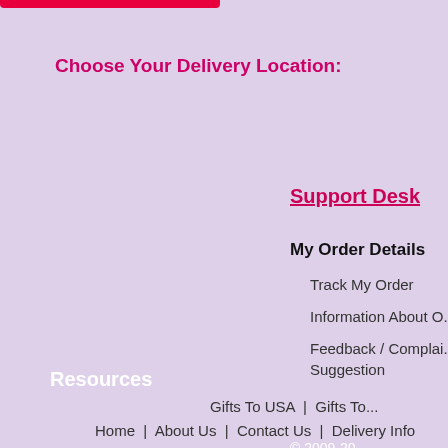Choose Your Delivery Location:
Support Desk
My Order Details
Track My Order
Information About O...
Feedback / Complaint / Suggestion
Resources
Gifts To USA  |  Gifts To...
Home  |  About Us  |  Contact Us  |  Delivery Info
© 2009-20...